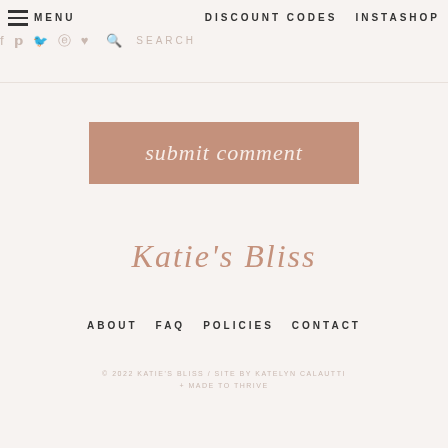MENU   DISCOUNT CODES   INSTASHOP
[Figure (other): Social media icons: Facebook, Pinterest, Twitter, Instagram, Heart, Search. Search placeholder text.]
[Figure (other): Submit comment button — mauve/dusty rose rectangle with cursive white text reading 'submit comment']
Katie's Bliss
ABOUT   FAQ   POLICIES   CONTACT
© 2022 KATIE'S BLISS / SITE BY KATELYN CALAUTTI + MADE TO THRIVE